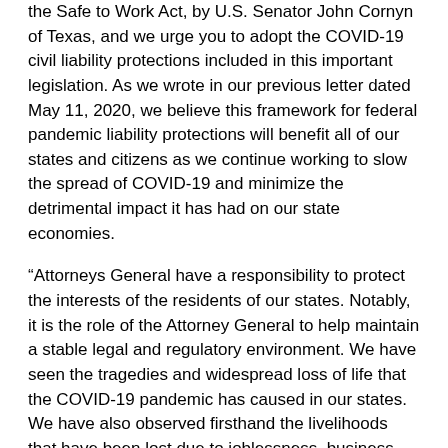the Safe to Work Act, by U.S. Senator John Cornyn of Texas, and we urge you to adopt the COVID-19 civil liability protections included in this important legislation. As we wrote in our previous letter dated May 11, 2020, we believe this framework for federal pandemic liability protections will benefit all of our states and citizens as we continue working to slow the spread of COVID-19 and minimize the detrimental impact it has had on our state economies.
“Attorneys General have a responsibility to protect the interests of the residents of our states. Notably, it is the role of the Attorney General to help maintain a stable legal and regulatory environment. We have seen the tragedies and widespread loss of life that the COVID-19 pandemic has caused in our states. We have also observed firsthand the livelihoods that have been lost due to joblessness, business closures, and the abandonment of traditional activities in daily lives and places of work.
“As the economies in our states have started reopening, and as we continue to work to protect public health, safety